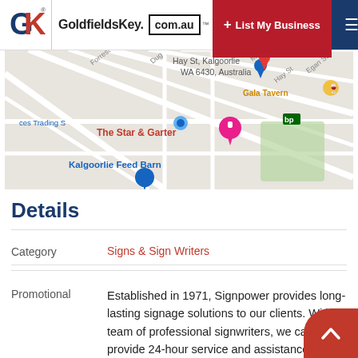GoldfieldsKey.com.au | + List My Business
[Figure (map): Google Maps view showing Kalgoorlie area with landmarks: The Star & Garter, Kalgoorlie Feed Barn, Gala Tavern, address Hay St, Kalgoorlie WA 6430, Australia]
Details
| Category | Value |
| --- | --- |
| Category | Signs & Sign Writers |
Established in 1971, Signpower provides long-lasting signage solutions to our clients. With a team of professional signwriters, we can provide 24-hour service and assistance. We can assist you throughout the process of...
Promotional